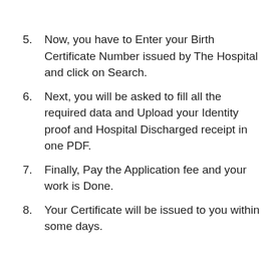5. Now, you have to Enter your Birth Certificate Number issued by The Hospital and click on Search.
6. Next, you will be asked to fill all the required data and Upload your Identity proof and Hospital Discharged receipt in one PDF.
7. Finally, Pay the Application fee and your work is Done.
8. Your Certificate will be issued to you within some days.